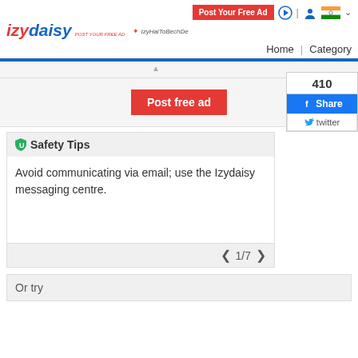[Figure (screenshot): izydaisy website header with logo, Post Your Free Ad button, sign-in icon, user icon, Indian flag with dropdown]
Home | Category
[Figure (screenshot): Gray banner with Post free ad red button on light gray background]
[Figure (infographic): Social share widget showing count 410, Facebook Share button, Twitter button]
Safety Tips
Avoid communicating via email; use the Izydaisy messaging centre.
1/7
Or try